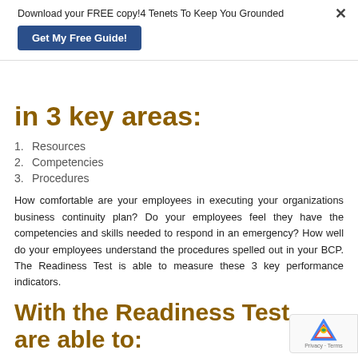Download your FREE copy!4 Tenets To Keep You Grounded
Get My Free Guide!
in 3 key areas:
1. Resources
2. Competencies
3. Procedures
How comfortable are your employees in executing your organizations business continuity plan? Do your employees feel they have the competencies and skills needed to respond in an emergency? How well do your employees understand the procedures spelled out in your BCP. The Readiness Test is able to measure these 3 key performance indicators.
With the Readiness Test, are able to: